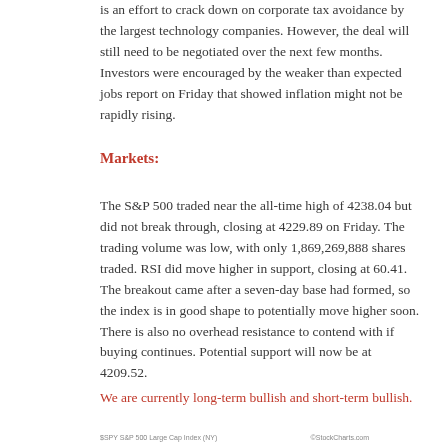is an effort to crack down on corporate tax avoidance by the largest technology companies. However, the deal will still need to be negotiated over the next few months. Investors were encouraged by the weaker than expected jobs report on Friday that showed inflation might not be rapidly rising.
Markets:
The S&P 500 traded near the all-time high of 4238.04 but did not break through, closing at 4229.89 on Friday. The trading volume was low, with only 1,869,269,888 shares traded. RSI did move higher in support, closing at 60.41. The breakout came after a seven-day base had formed, so the index is in good shape to potentially move higher soon. There is also no overhead resistance to contend with if buying continues. Potential support will now be at 4209.52.
We are currently long-term bullish and short-term bullish.
$SPY S&P 500 Large Cap Index (NY)                                                           ©StockChartsom